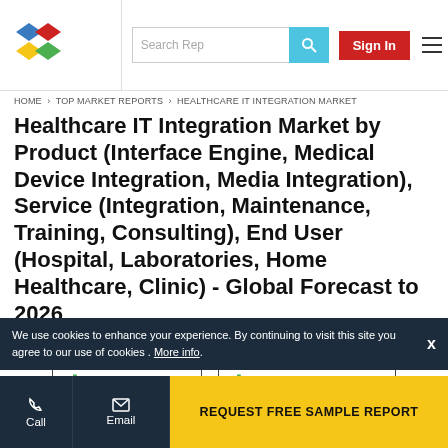Search Rep | Sign In
HOME › TOP MARKET REPORTS › HEALTHCARE IT INTEGRATION MARKET
Healthcare IT Integration Market by Product (Interface Engine, Medical Device Integration, Media Integration), Service (Integration, Maintenance, Training, Consulting), End User (Hospital, Laboratories, Home Healthcare, Clinic) - Global Forecast to 2026
FREE BROCHURE
FREE SAMPLE REPORT
We use cookies to enhance your experience. By continuing to visit this site you agree to our use of cookies . More info.
Call | Email | REQUEST FREE SAMPLE REPORT